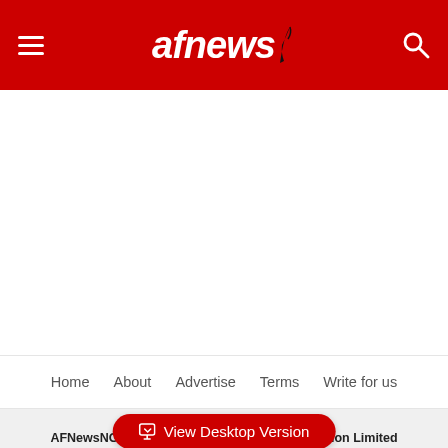afnews
[Figure (other): Empty white content area (advertisement or article space)]
Home   About   Advertise   Terms   Write for us
View Desktop Version
AFNewsNG - Managed by GoldInk Communication Limited